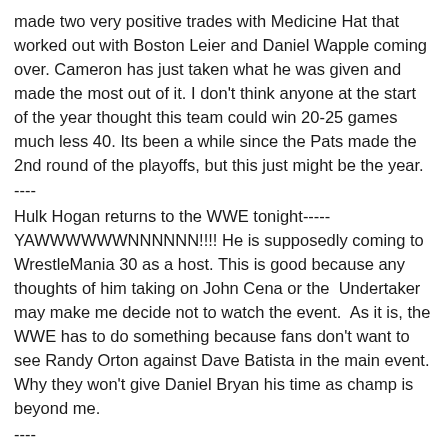made two very positive trades with Medicine Hat that worked out with Boston Leier and Daniel Wapple coming over. Cameron has just taken what he was given and made the most out of it. I don't think anyone at the start of the year thought this team could win 20-25 games much less 40. Its been a while since the Pats made the 2nd round of the playoffs, but this just might be the year.
----
Hulk Hogan returns to the WWE tonight-----YAWWWWWWNNNNNN!!!! He is supposedly coming to WrestleMania 30 as a host. This is good because any thoughts of him taking on John Cena or the  Undertaker may make me decide not to watch the event.  As it is, the WWE has to do something because fans don't want to see Randy Orton against Dave Batista in the main event. Why they won't give Daniel Bryan his time as champ is beyond me.
----
It saddens me and baffles me somewhat to think the new Tim Hortons Field won't be ready to go in Hamilton by the time its needed. The Ontario government has apparently told the Ti-Cats to make contingency plans. The Ti-Cats are confident it won't be a problem. Have we not seen this